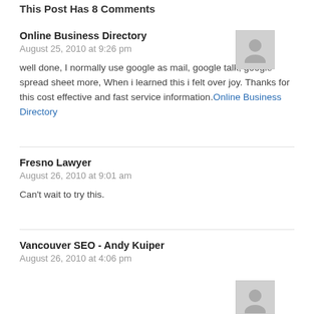This Post Has 8 Comments
Online Business Directory
August 25, 2010 at 9:26 pm
well done, I normally use google as mail, google talk, google spread sheet more, When i learned this i felt over joy. Thanks for this cost effective and fast service information.Online Business Directory
Fresno Lawyer
August 26, 2010 at 9:01 am
Can't wait to try this.
Vancouver SEO - Andy Kuiper
August 26, 2010 at 4:06 pm